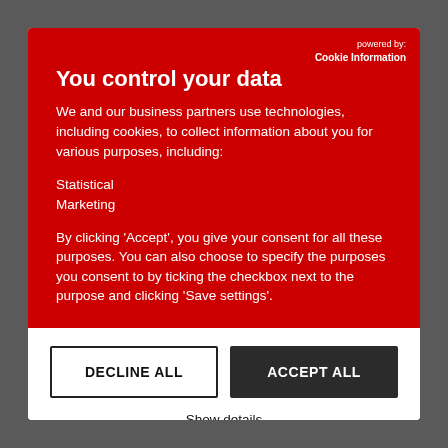powered by: Cookie Information
You control your data
We and our business partners use technologies, including cookies, to collect information about you for various purposes, including:
Statistical
Marketing
By clicking 'Accept', you give your consent for all these purposes. You can also choose to specify the purposes you consent to by ticking the checkbox next to the purpose and clicking 'Save settings'.
DECLINE ALL
ACCEPT ALL
Show details